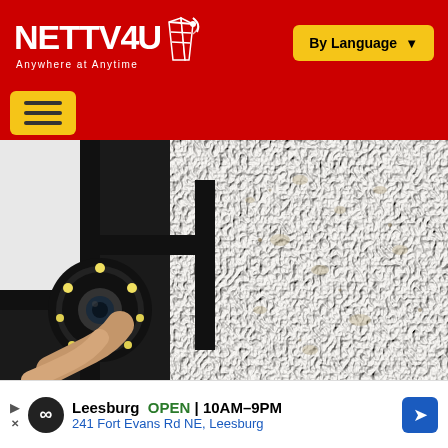NETTV4U - By Language
[Figure (screenshot): Website screenshot of NETTV4U with red header, logo, By Language button, hamburger menu, and a photo of a person mounting a security camera on a textured stucco wall]
Leesburg OPEN 10AM–9PM | 241 Fort Evans Rd NE, Leesburg